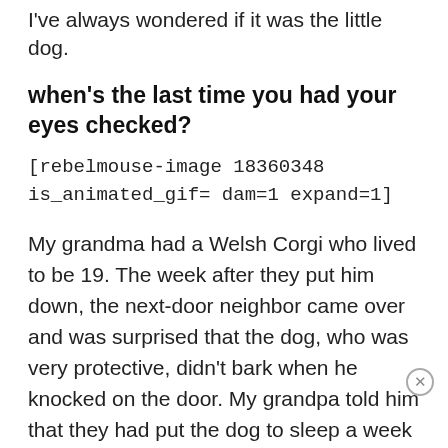I've always wondered if it was the little dog.
when's the last time you had your eyes checked?
[rebelmouse-image 18360348 is_animated_gif= dam=1 expand=1]
My grandma had a Welsh Corgi who lived to be 19. The week after they put him down, the next-door neighbor came over and was surprised that the dog, who was very protective, didn't bark when he knocked on the door. My grandpa told him that they had put the dog to sleep a week ago. The neighbor got really serious and said, "No way. I've seen him every day standing under the big tree in your front yard." We took this as a sign